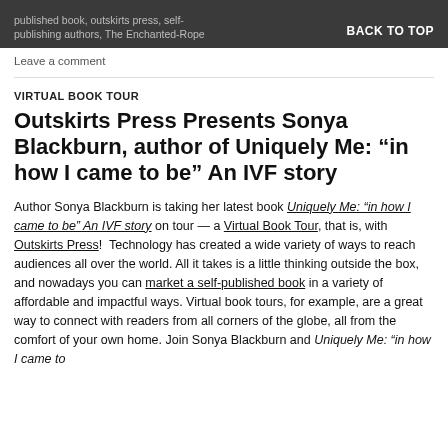published book, outskirts press, self-publishing authors, The Enchanted-Rope    BACK TO TOP
Leave a comment
VIRTUAL BOOK TOUR
Outskirts Press Presents Sonya Blackburn, author of Uniquely Me: “in how I came to be” An IVF story
Author Sonya Blackburn is taking her latest book Uniquely Me: “in how I came to be” An IVF story on tour — a Virtual Book Tour, that is, with Outskirts Press! Technology has created a wide variety of ways to reach audiences all over the world. All it takes is a little thinking outside the box, and nowadays you can market a self-published book in a variety of affordable and impactful ways. Virtual book tours, for example, are a great way to connect with readers from all corners of the globe, all from the comfort of your own home. Join Sonya Blackburn and Uniquely Me: “in how I came to